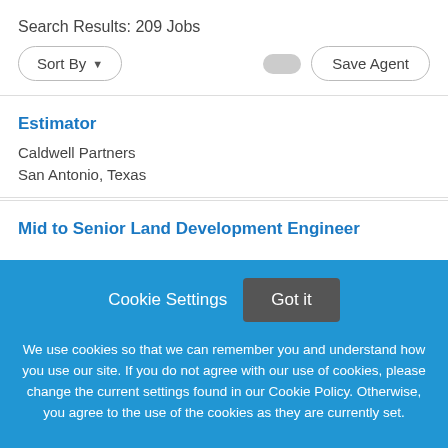Search Results: 209 Jobs
Sort By
Save Agent
Estimator
Caldwell Partners
San Antonio, Texas
Mid to Senior Land Development Engineer
Cookie Settings
Got it
We use cookies so that we can remember you and understand how you use our site. If you do not agree with our use of cookies, please change the current settings found in our Cookie Policy. Otherwise, you agree to the use of the cookies as they are currently set.